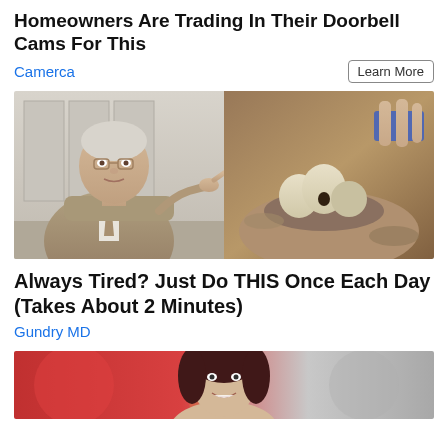Homeowners Are Trading In Their Doorbell Cams For This
Camerca
Learn More
[Figure (photo): Split image: left side shows an older man in a suit pointing at a dental model, right side shows a close-up of dental work being done with brown tooth-like objects in sand/material]
Always Tired? Just Do THIS Once Each Day (Takes About 2 Minutes)
Gundry MD
[Figure (photo): Partial image of a woman with dark hair smiling, colorful blurred background with circular elements]